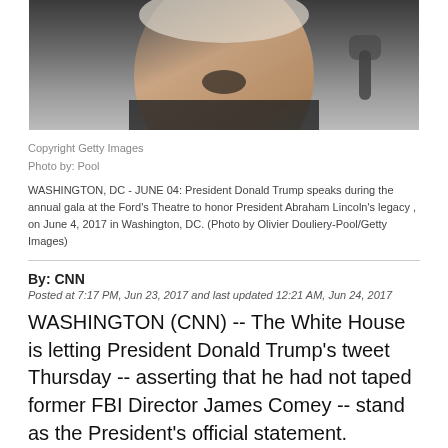[Figure (photo): Close-up photograph of President Donald Trump speaking, mouth open, in dark suit, with a microphone visible in the background.]
Copyright Getty Images
Photo by: Pool

WASHINGTON, DC - JUNE 04: President Donald Trump speaks during the annual gala at the Ford's Theatre to honor President Abraham Lincoln's legacy , on June 4, 2017 in Washington, DC. (Photo by Olivier Douliery-Pool/Getty Images)
By: CNN
Posted at 7:17 PM, Jun 23, 2017 and last updated 12:21 AM, Jun 24, 2017
WASHINGTON (CNN) -- The White House is letting President Donald Trump's tweet Thursday -- asserting that he had not taped former FBI Director James Comey -- stand as the President's official statement.